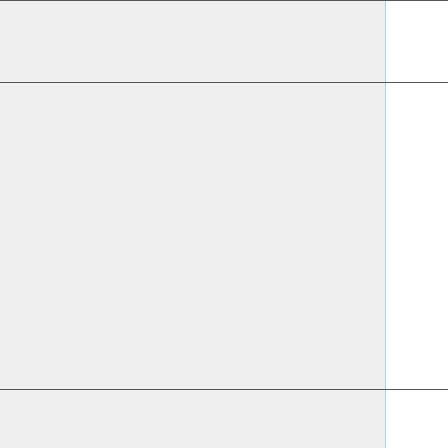|  |  | Topic | Description |
| --- | --- | --- | --- |
|  |  | fra... |  |
|  | Sep 2011 | Data management – best practices and requirements | Pre em ma iss exp ave furt dev as use per |
|  | Sep | Virtual Research | Pro ava too exp and req gat |